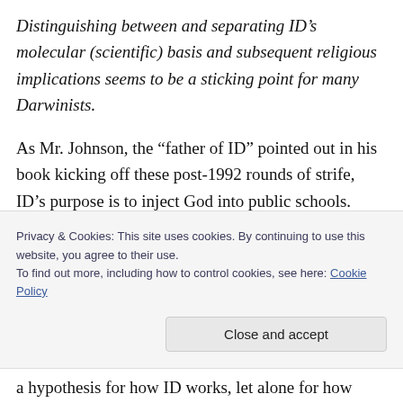Distinguishing between and separating ID's molecular (scientific) basis and subsequent religious implications seems to be a sticking point for many Darwinists.
As Mr. Johnson, the “father of ID” pointed out in his book kicking off these post-1992 rounds of strife, ID’s purpose is to inject God into public schools. Let’s be clear about the origins of philosophy, can we?
Privacy & Cookies: This site uses cookies. By continuing to use this website, you agree to their use.
To find out more, including how to control cookies, see here: Cookie Policy
Close and accept
a hypothesis for how ID works, let alone for how